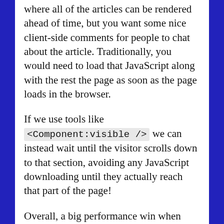where all of the articles can be rendered ahead of time, but you want some nice client-side comments for people to chat about the article. Traditionally, you would need to load that JavaScript along with the rest the page as soon as the page loads in the browser.
If we use tools like <Component:visible /> we can instead wait until the visitor scrolls down to that section, avoiding any JavaScript downloading until they actually reach that part of the page!
Overall, a big performance win when using these APIs strategically.
Follow along with the commit!